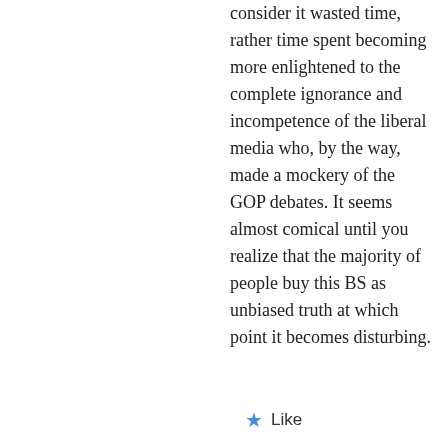consider it wasted time, rather time spent becoming more enlightened to the complete ignorance and incompetence of the liberal media who, by the way, made a mockery of the GOP debates. It seems almost comical until you realize that the majority of people buy this BS as unbiased truth at which point it becomes disturbing.
★ Like
↩ Reply
[Figure (logo): FLY CORVAIR NET logo - small website avatar image]
William Wynne
10/29/2015 AT 1:57 PM
Sonny,
I think it really doesn't matter about the network nor the bias, the people in that trade have no